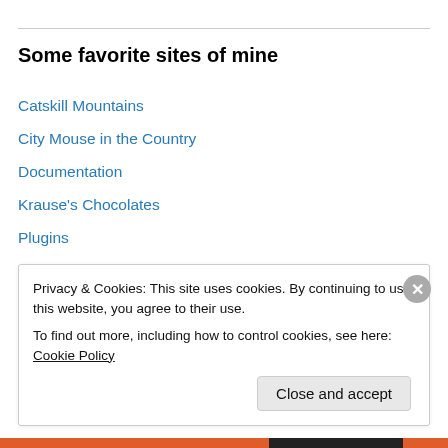Some favorite sites of mine
Catskill Mountains
City Mouse in the Country
Documentation
Krause's Chocolates
Plugins
Randy and Bekka
Suggest Ideas
Support Forum
The Fruitarian
Privacy & Cookies: This site uses cookies. By continuing to use this website, you agree to their use. To find out more, including how to control cookies, see here: Cookie Policy